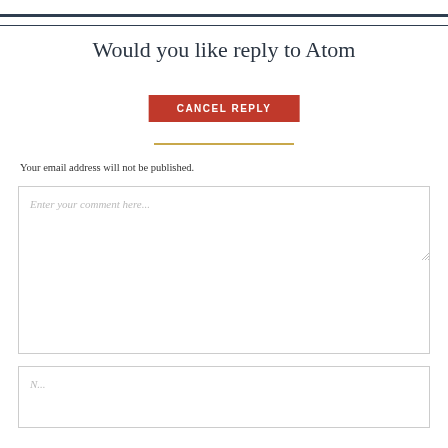Would you like reply to Atom
CANCEL REPLY
Your email address will not be published.
Enter your comment here...
N...